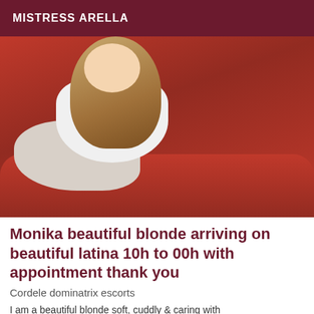MISTRESS ARELLA
[Figure (photo): A young woman with long reddish-blonde hair wearing a white sleeveless top, lying on a red sofa or couch, smiling at the camera.]
Monika beautiful blonde arriving on beautiful latina 10h to 00h with appointment thank you
Cordele dominatrix escorts
I am a beautiful blonde soft, cuddly & caring with